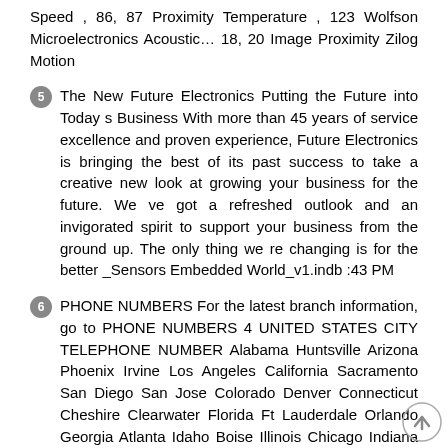Speed , 86, 87 Proximity Temperature , 123 Wolfson Microelectronics Acoustic… 18, 20 Image Proximity Zilog Motion
5 The New Future Electronics Putting the Future into Today s Business With more than 45 years of service excellence and proven experience, Future Electronics is bringing the best of its past success to take a creative new look at growing your business for the future. We ve got a refreshed outlook and an invigorated spirit to support your business from the ground up. The only thing we re changing is for the better _Sensors Embedded World_v1.indb :43 PM
6 PHONE NUMBERS For the latest branch information, go to PHONE NUMBERS 4 UNITED STATES CITY TELEPHONE NUMBER Alabama Huntsville Arizona Phoenix Irvine Los Angeles California Sacramento San Diego San Jose Colorado Denver Connecticut Cheshire Clearwater Florida Ft Lauderdale Orlando Georgia Atlanta Idaho Boise Illinois Chicago Indiana Indianapolis Kansas Kansas City Maryland Baltimore Massachusetts Bolton Michigan